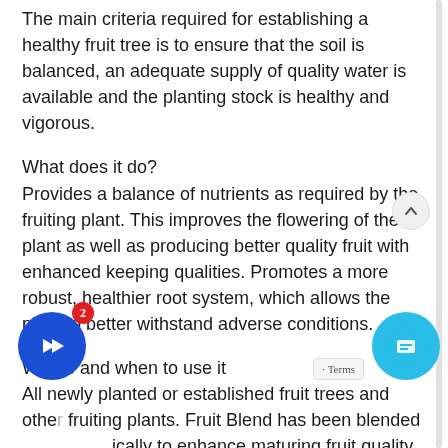The main criteria required for establishing a healthy fruit tree is to ensure that the soil is balanced, an adequate supply of quality water is available and the planting stock is healthy and vigorous.
What does it do?
Provides a balance of nutrients as required by the fruiting plant. This improves the flowering of the plant as well as producing better quality fruit with enhanced keeping qualities. Promotes a more robust, healthier root system, which allows the plant to better withstand adverse conditions.
Where and when to use it
All newly planted or established fruit trees and other fruiting plants. Fruit Blend has been blended ically to enhance maturing fruit quality a ve shelf life, while maintaining healthy plo growth.